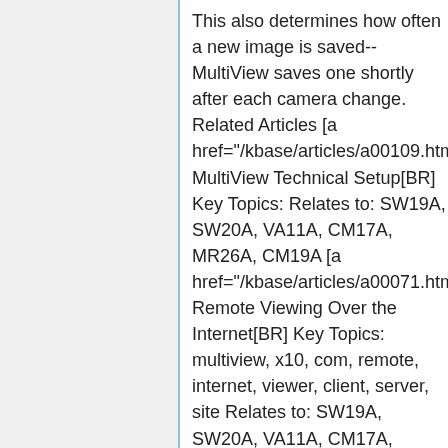This also determines how often a new image is saved--MultiView saves one shortly after each camera change. Related Articles [a href="/kbase/articles/a00109.html"]a00109[/A MultiView Technical Setup[BR] Key Topics: Relates to: SW19A, SW20A, VA11A, CM17A, MR26A, CM19A [a href="/kbase/articles/a00071.html"]a00071[/A Remote Viewing Over the Internet[BR] Key Topics: multiview, x10, com, remote, internet, viewer, client, server, site Relates to: SW19A, SW20A, VA11A, CM17A, MR26A, CM19A [a href="/kbase/articles/a00072.html"]a00072[/A Error "Can't connect socket: connection refused"[BR] Key Topics: error, socket, web, browser, remote, internet, viewer, client, server Relates to: SW19A, SW20A, VA11A, CM17A, MR26A,